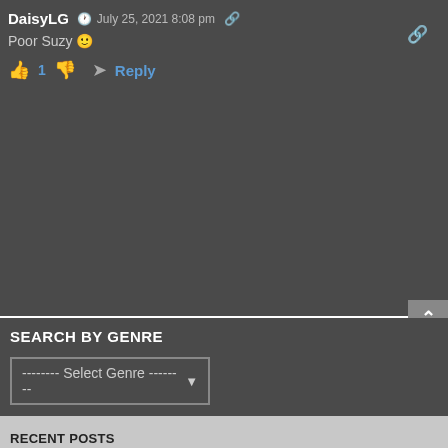DaisyLG  July 25, 2021 8:08 pm
Poor Suzy 🙂
👍 1 👎  ➤ Reply
SEARCH BY GENRE
-------- Select Genre -------- ▾
RECENT POSTS